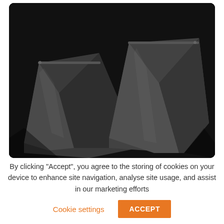[Figure (photo): Product photo of dark/black plastic bags or pouches on a black background, showing two overlapping flat plastic bags with visible folds and creases.]
By clicking “Accept”, you agree to the storing of cookies on your device to enhance site navigation, analyse site usage, and assist in our marketing efforts
Cookie settings
ACCEPT